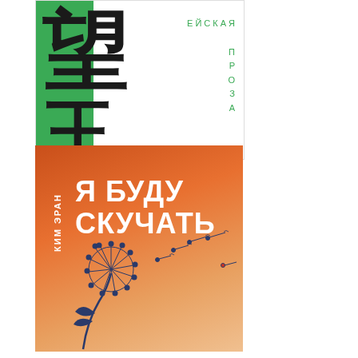[Figure (illustration): Top book cover with green vertical bar on left, large Chinese/Korean calligraphy characters in black on white and green background. On the right side text reads 'ЕЙСКАЯ' and 'ПРОЗА' in green letters vertically.]
[Figure (illustration): Bottom book cover with orange-to-beige gradient background. Author name 'КИМ ЭРАН' written vertically on left side in white. Title 'Я БУДУ СКУЧАТЬ' in large white bold text. Dandelion illustration in dark blue at bottom left with seeds floating to the right.]